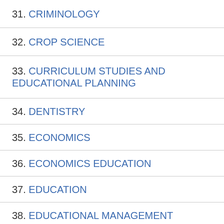31. CRIMINOLOGY
32. CROP SCIENCE
33. CURRICULUM STUDIES AND EDUCATIONAL PLANNING
34. DENTISTRY
35. ECONOMICS
36. ECONOMICS EDUCATION
37. EDUCATION
38. EDUCATIONAL MANAGEMENT
39. EDUCATIONAL TECHNOLOGY